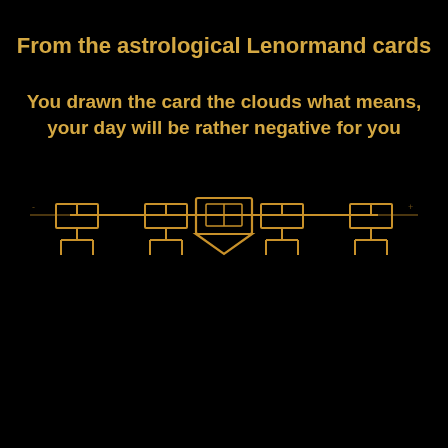From the astrological Lenormand cards
You drawn the card the clouds what means, your day will be rather negative for you
[Figure (schematic): Golden astrological Lenormand card spread diagram showing a branching tree-like structure with rectangular nodes connected by lines, rendered in golden/amber color on black background. Central node has a shield/badge shape with smaller rectangular nodes branching left and right symmetrically.]